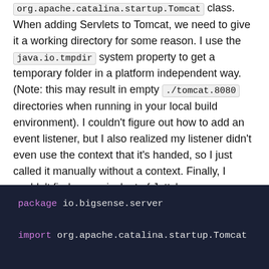org.apache.catalina.startup.Tomcat class. When adding Servlets to Tomcat, we need to give it a working directory for some reason. I use the java.io.tmpdir system property to get a temporary folder in a platform independent way. (Note: this may result in empty ./tomcat.8080 directories when running in your local build environment). I couldn't figure out how to add an event listener, but I also realized my listener didn't even use the context that it's handed, so I just called it manually without a context. Finally, I couldn't find an equivalent of Jetty's setResourceBase for serving static content, so I had to create my own StaticContentServlet which we'll look at in a moment.
[Figure (screenshot): Code block with dark navy background showing Java package declaration 'package io.bigsense.server' and import statement 'import org.apache.catalina.startup.Tomcat' with syntax highlighting]